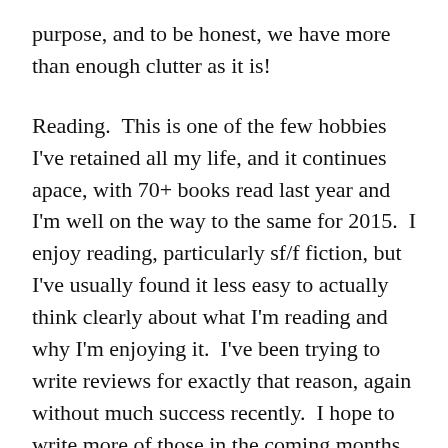purpose, and to be honest, we have more than enough clutter as it is!
Reading.  This is one of the few hobbies I've retained all my life, and it continues apace, with 70+ books read last year and I'm well on the way to the same for 2015.  I enjoy reading, particularly sf/f fiction, but I've usually found it less easy to actually think clearly about what I'm reading and why I'm enjoying it.  I've been trying to write reviews for exactly that reason, again without much success recently.  I hope to write more of those in the coming months and years, and/or republish a few old ones for a new audience.